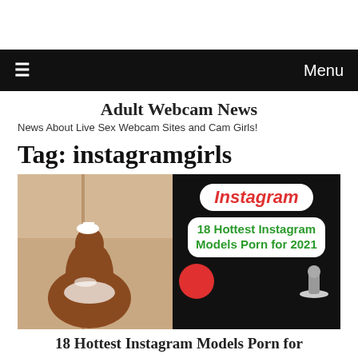≡  Menu
Adult Webcam News
News About Live Sex Webcam Sites and Cam Girls!
Tag: instagramgirls
[Figure (photo): Article thumbnail image split into two halves: left shows a woman in a white outfit, right shows a black panel with 'Instagram' in red italic text on white rounded badge, and '18 Hottest Instagram Models Porn for 2021' in green bold text on white rounded rectangle, plus partial logo at bottom.]
18 Hottest Instagram Models Porn for